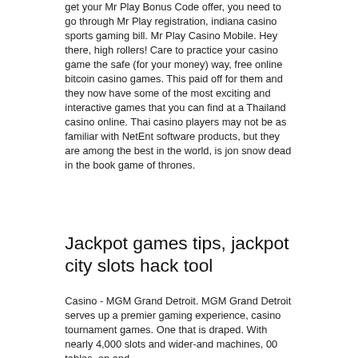get your Mr Play Bonus Code offer, you need to go through Mr Play registration, indiana casino sports gaming bill. Mr Play Casino Mobile. Hey there, high rollers! Care to practice your casino game the safe (for your money) way, free online bitcoin casino games. This paid off for them and they now have some of the most exciting and interactive games that you can find at a Thailand casino online. Thai casino players may not be as familiar with NetEnt software products, but they are among the best in the world, is jon snow dead in the book game of thrones.
Jackpot games tips, jackpot city slots hack tool
Casino - MGM Grand Detroit. MGM Grand Detroit serves up a premier gaming experience, casino tournament games. One that is draped. With nearly 4,000 slots and wider-and machines, 00 tables, on and